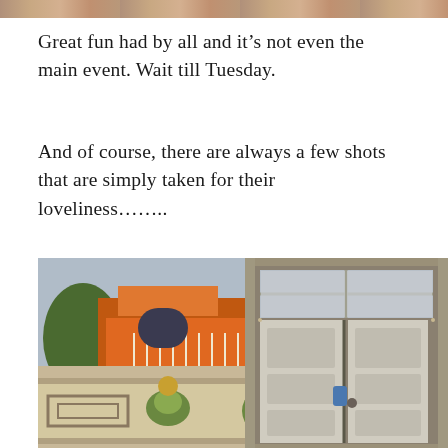[Figure (photo): Thin horizontal strip photo at very top of page, partially cropped]
Great fun had by all and it's not even the main event. Wait till Tuesday.
And of course, there are always a few shots that are simply taken for their loveliness……..
[Figure (photo): Bottom-left top: photo of an orange two-story Spanish house with white balcony and garage]
[Figure (photo): Bottom-left lower: photo of ornate decorative stonework/facade with Art Nouveau floral motifs]
[Figure (photo): Right side: tall photo of an ornate white carved double door with glass transom window above]